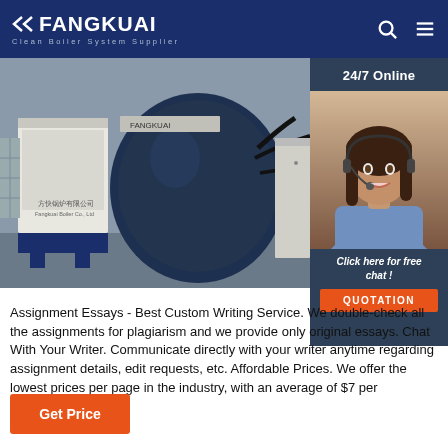FANGKUAI - Clean Boiler System Supplier
[Figure (photo): Industrial boiler equipment — large cylindrical blue-and-white boiler unit with cables, Fangkuai branding visible, in a workshop setting]
[Figure (photo): Customer service agent (woman with headset) with '24/7 Online' label and 'Click here for free chat!' call-to-action, 'QUOTATION' button]
Assignment Essays - Best Custom Writing Service. We double-check all the assignments for plagiarism and we provide only original essays. Chat With Your Writer. Communicate directly with your writer anytime regarding assignment details, edit requests, etc. Affordable Prices. We offer the lowest prices per page in the industry, with an average of $7 per page.
Get Price